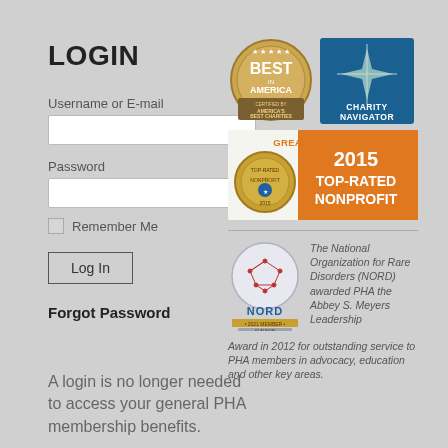LOGIN
Username or E-mail
Password
Remember Me
Log In
Forgot Password
A login is no longer needed to access your general PHA membership benefits.
[Figure (logo): America's Best Charities badge - circular medal with stars and ribbon]
[Figure (logo): Charity Navigator badge - blue square with compass star logo]
[Figure (logo): GreatNonprofits 2015 Top-Rated Nonprofit banner - orange and white with gold medal]
[Figure (logo): NORD 2021 Member Platinum badge]
The National Organization for Rare Disorders (NORD) awarded PHA the Abbey S. Meyers Leadership Award in 2012 for outstanding service to PHA members in advocacy, education and other key areas.